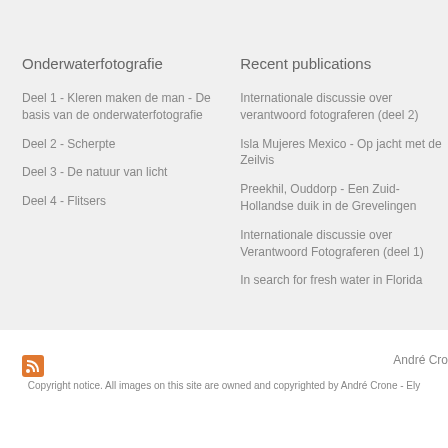Onderwaterfotografie
Deel 1 - Kleren maken de man - De basis van de onderwaterfotografie
Deel 2 - Scherpte
Deel 3 - De natuur van licht
Deel 4 - Flitsers
Recent publications
Internationale discussie over verantwoord fotograferen (deel 2)
Isla Mujeres Mexico - Op jacht met de Zeilvis
Preekhil, Ouddorp - Een Zuid-Hollandse duik in de Grevelingen
Internationale discussie over Verantwoord Fotograferen (deel 1)
In search for fresh water in Florida
André Cro
Copyright notice. All images on this site are owned and copyrighted by André Crone - Ely